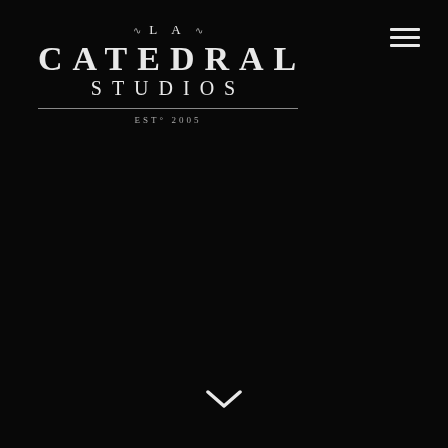[Figure (logo): La Catedral Studios logo with decorative swirls, serif lettering, horizontal rule, and EST° 2005 text on black background]
[Figure (other): Hamburger menu icon (three horizontal white lines) in top right corner]
[Figure (other): White chevron/downward arrow at bottom center of page]